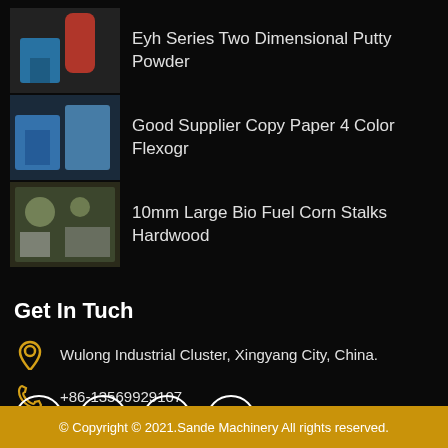Eyh Series Two Dimensional Putty Powder
Good Supplier Copy Paper 4 Color Flexogr
10mm Large Bio Fuel Corn Stalks Hardwood
Get In Tuch
Wulong Industrial Cluster, Xingyang City, China.
+86-13569929107
sales@sdofe.com
[Figure (other): Social media icons: Facebook, Twitter, Behance, Instagram in white circles]
© Copyright © 2021.Sande Machinery All rights reserved.